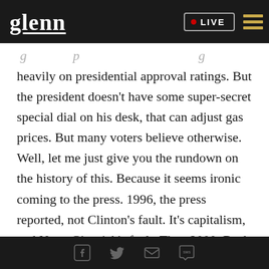glenn LIVE
heavily on presidential approval ratings. But the president doesn't have some super-secret special dial on his desk, that can adjust gas prices. But many voters believe otherwise. Well, let me just give you the rundown on the history of this. Because it seems ironic coming to the press. 1996, the press reported, not Clinton's fault. It's capitalism, and Newt Gingrich's fault. Then 2000. Bush blames Clinton. But it's really Bush's fault. This is typical of an administration that refuses to accept responsibility. Here's another one from CNN. 2001. It's Bush's fault.
Social share icons: Facebook, Twitter, Email, SMS